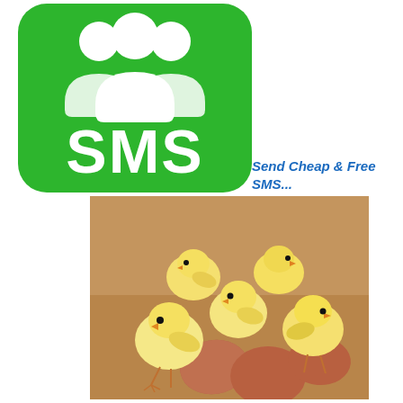[Figure (logo): Green rounded-square SMS app icon with two white human silhouettes and large white 'SMS' text on green background]
Send Cheap & Free SMS...
[Figure (photo): Photo of four yellow baby chicks gathered around three brown eggs on a cardboard surface]